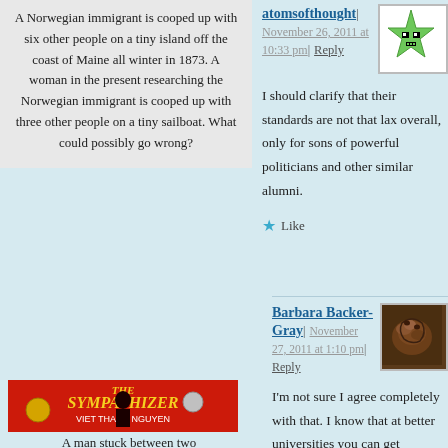A Norwegian immigrant is cooped up with six other people on a tiny island off the coast of Maine all winter in 1873. A woman in the present researching the Norwegian immigrant is cooped up with three other people on a tiny sailboat. What could possibly go wrong?
atomsofthought
November 26, 2011 at 10:33 pm | Reply
I should clarify that their standards are not that lax overall, only for sons of powerful politicians and other similar alumni.
Like
[Figure (illustration): Green cartoon star avatar with eyes and mouth on white background with grey border]
Barbara Backer-Gray
November 27, 2011 at 1:10 pm | Reply
I'm not sure I agree completely with that. I know that at better universities you can get
[Figure (photo): Brown sculptural avatar showing coiled snake or similar figure on dark background]
[Figure (photo): Book cover: The Sympathizer by Viet Thanh Nguyen, red cover with silhouette]